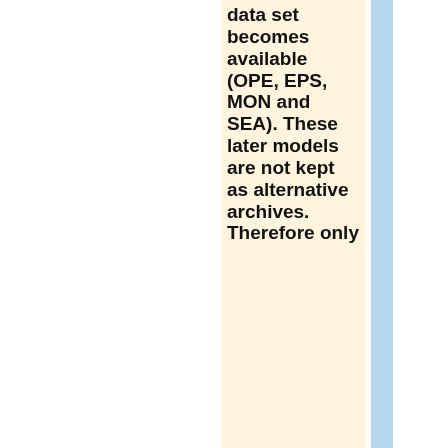data set becomes available (OPE, EPS, MON and SEA). These later models are not kept as alternative archives. Therefore only